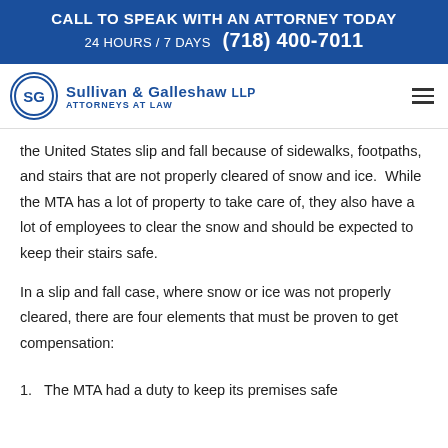CALL TO SPEAK WITH AN ATTORNEY TODAY
24 HOURS / 7 DAYS  (718) 400-7011
[Figure (logo): Sullivan & Galleshaw LLP Attorneys at Law logo with SG monogram in circle]
the United States slip and fall because of sidewalks, footpaths, and stairs that are not properly cleared of snow and ice.  While the MTA has a lot of property to take care of, they also have a lot of employees to clear the snow and should be expected to keep their stairs safe.
In a slip and fall case, where snow or ice was not properly cleared, there are four elements that must be proven to get compensation:
1.  The MTA had a duty to keep its premises safe